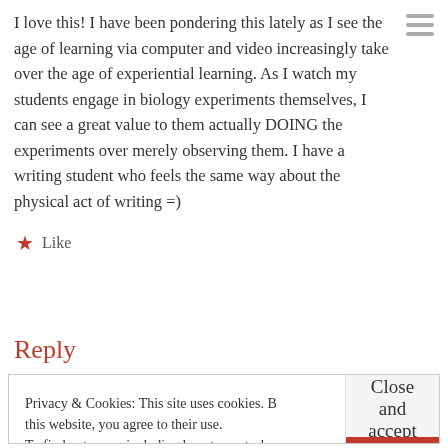I love this! I have been pondering this lately as I see the age of learning via computer and video increasingly take over the age of experiential learning. As I watch my students engage in biology experiments themselves, I can see a great value to them actually DOING the experiments over merely observing them. I have a writing student who feels the same way about the physical act of writing =)
★ Like
Reply
Privacy & Cookies: This site uses cookies. By continuing to use this website, you agree to their use. To find out more, including how to control cookies, see here: Cookie Policy
Close and accept